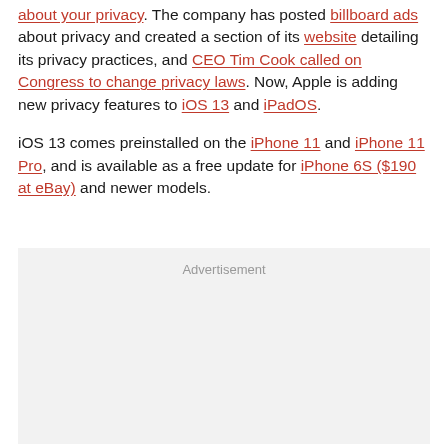about your privacy. The company has posted billboard ads about privacy and created a section of its website detailing its privacy practices, and CEO Tim Cook called on Congress to change privacy laws. Now, Apple is adding new privacy features to iOS 13 and iPadOS.
iOS 13 comes preinstalled on the iPhone 11 and iPhone 11 Pro, and is available as a free update for iPhone 6S ($190 at eBay) and newer models.
[Figure (other): Advertisement placeholder box with light gray background and the word 'Advertisement' in gray text at the top.]